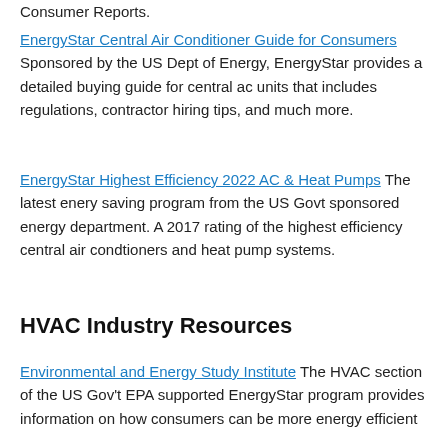Consumer Reports.
EnergyStar Central Air Conditioner Guide for Consumers Sponsored by the US Dept of Energy, EnergyStar provides a detailed buying guide for central ac units that includes regulations, contractor hiring tips, and much more.
EnergyStar Highest Efficiency 2022 AC & Heat Pumps The latest enery saving program from the US Govt sponsored energy department. A 2017 rating of the highest efficiency central air condtioners and heat pump systems.
HVAC Industry Resources
Environmental and Energy Study Institute The HVAC section of the US Gov't EPA supported EnergyStar program provides information on how consumers can be more energy efficient